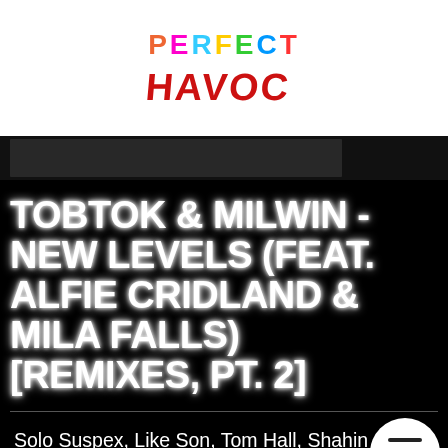[Figure (logo): Perfect Havoc logo — 'PERFECT' in colorful neon letters, 'HAVOC' in red graffiti-style font]
TOBTOK & MILWIN - NEW LEVELS (FEAT. ALFIE CRIDLAND & MILA FALLS) [REMIXES, PT. 2]
Solo Suspex, Like Son, Tom Hall, Shahin Shahid & Scott Forshaw all lend their production talents to the second official remix package of New Levels, the latest release from Tobtok, Milwin & Alfie Cridland &...